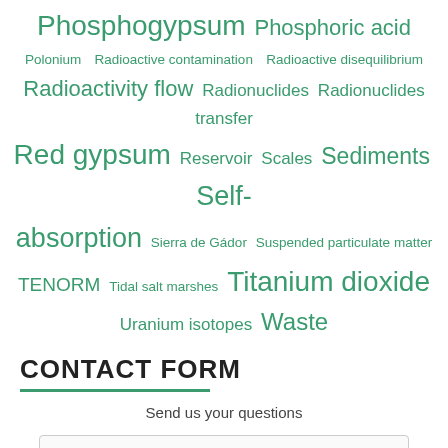Phosphogypsum  Phosphoric acid  Polonium  Radioactive contamination  Radioactive disequilibrium  Radioactivity flow  Radionuclides  Radionuclides transfer  Red gypsum  Reservoir  Scales  Sediments  Self-absorption  Sierra de Gádor  Suspended particulate matter  TENORM  Tidal salt marshes  Titanium dioxide  Uranium isotopes  Waste
CONTACT FORM
Send us your questions
Name